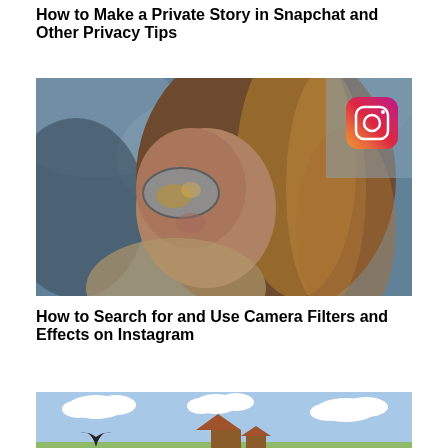How to Make a Private Story in Snapchat and Other Privacy Tips
[Figure (photo): Young woman with long brown hair wearing sunglasses, looking upward, with Instagram logo overlay in upper right]
How to Search for and Use Camera Filters and Effects on Instagram
[Figure (illustration): Cartoon illustration with blue sky, white clouds, and cartoon characters/objects at the bottom]